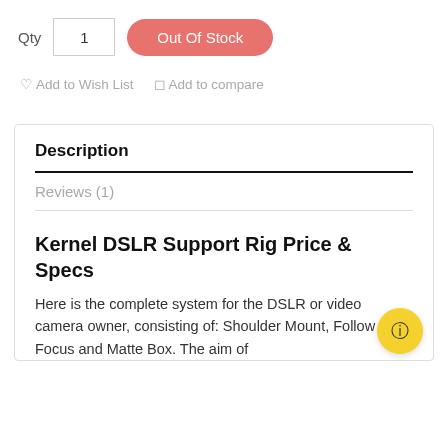Qty  1
Out Of Stock
Add to Wish List   Add to compare
Description
Reviews (1)
Kernel DSLR Support Rig Price & Specs
Here is the complete system for the DSLR or video camera owner, consisting of: Shoulder Mount, Follow Focus and Matte Box. The aim of